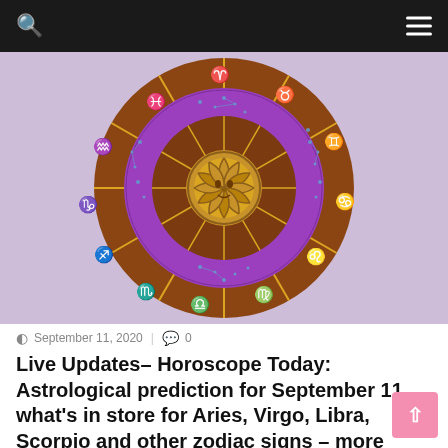Navigation bar with search and menu icons
[Figure (illustration): Zodiac astrological wheel with 12 signs, purple inner ring with constellation patterns, brown outer ring with golden zodiac symbol figures, sun face in center, on a lavender background]
September 11, 2020  |  0
Live Updates– Horoscope Today: Astrological prediction for September 11, what's in store for Aries, Virgo, Libra, Scorpio and other zodiac signs – more lifestyle
Horoscope Today: Astrological prediction for September 11, what's in store for Aries, Virgo, Libra, Scorpio and